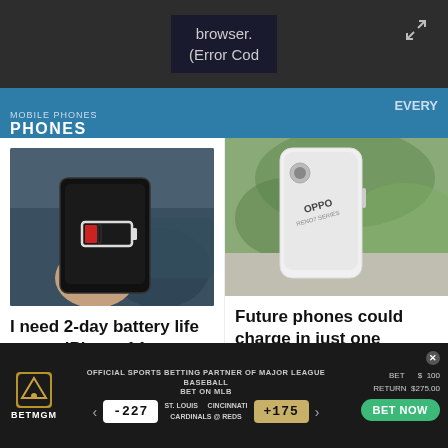browser. (Error Cod
PHONES
[Figure (photo): Hand holding a smartphone with low battery indicator in a car]
I need 2-day battery life on my iPhone 14 – Apple, you can do this ▶
[Figure (photo): Hand holding an OPPO smartphone outdoors with green foliage in background]
Future phones could charge in just one second, according to Oppo ▶
[Figure (other): BetMGM advertisement banner: OFFICIAL SPORTS BETTING PARTNER OF MAJOR LEAGUE BASEBALL, BET ON MLB, ST. LOUIS CARDINALS @ CINCINNATI REDS, odds -227 and +175, BET $100 RETURN $275.00, BET NOW button]